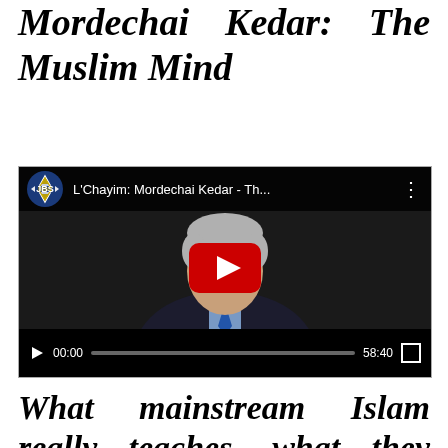Mordechai Kedar: The Muslim Mind
[Figure (screenshot): YouTube video embed showing L'Chayim: Mordechai Kedar - Th... with JBS logo, a man in a suit smiling, red play button overlay, and video controls showing 00:00 / 58:40]
What mainstream Islam really teaches, what they believe...